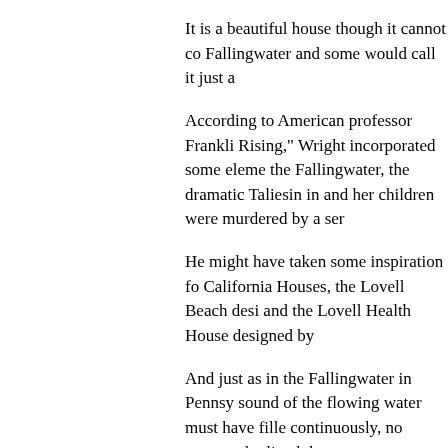It is a beautiful house though it cannot co Fallingwater and some would call it just a
According to American professor Frankli Rising," Wright incorporated some eleme the Fallingwater, the dramatic Taliesin in and her children were murdered by a ser
He might have taken some inspiration fo California Houses, the Lovell Beach desi and the Lovell Health House designed by
And just as in the Fallingwater in Pennsy sound of the flowing water must have fill continuously, no matter who lived there.
No city in China has such a short and viv colorful, condensed, breathtaking, so Ea grown from a place of narrow streets to a 200 years.
On the surface, Shanghai's history has w skyscrapers. But inside and often concea gardens, thousands of old buildings are t silent way. That's the charm of our city.